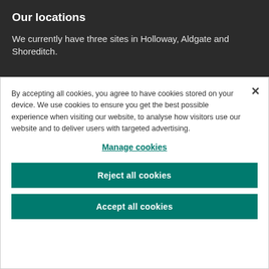Our locations
We currently have three sites in Holloway, Aldgate and Shoreditch.
By accepting all cookies, you agree to have cookies stored on your device. We use cookies to ensure you get the best possible experience when visiting our website, to analyse how visitors use our website and to deliver users with targeted advertising.
Manage cookies
Reject all cookies
Accept all cookies